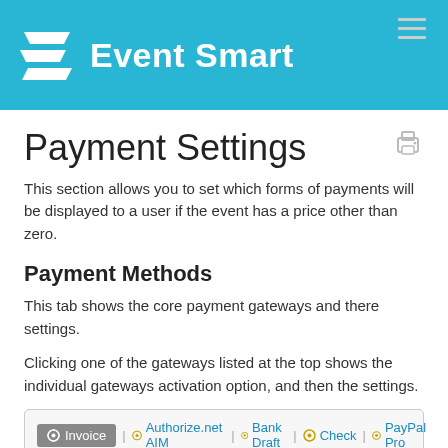Event Smart
Payment Settings
This section allows you to set which forms of payments will be displayed to a user if the event has a price other than zero.
Payment Methods
This tab shows the core payment gateways and there settings.
Clicking one of the gateways listed at the top shows the individual gateways activation option, and then the settings.
[Figure (screenshot): Tab navigation bar showing Invoice (active), Authorize.net AIM, Bank Draft, Check, PayPal Pro tabs with gear icons]
Invoice Settings